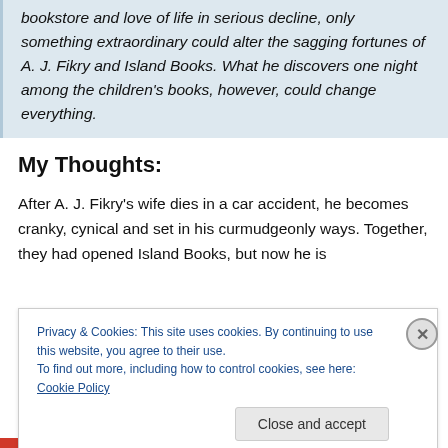bookstore and love of life in serious decline, only something extraordinary could alter the sagging fortunes of A. J. Fikry and Island Books. What he discovers one night among the children's books, however, could change everything.
My Thoughts:
After A. J. Fikry's wife dies in a car accident, he becomes cranky, cynical and set in his curmudgeonly ways. Together, they had opened Island Books, but now he is
Privacy & Cookies: This site uses cookies. By continuing to use this website, you agree to their use.
To find out more, including how to control cookies, see here: Cookie Policy
Close and accept